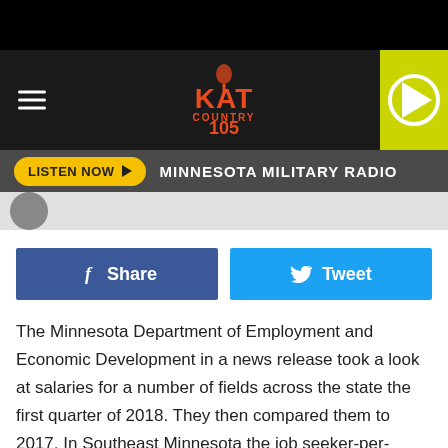[Figure (screenshot): KAT Country 105 radio website header with black background, hamburger menu, logo, yellow play button]
[Figure (screenshot): Dark gray bar with yellow LISTEN NOW button and MINNESOTA MILITARY RADIO text]
[Figure (screenshot): Gray strip with profile thumbnail]
[Figure (screenshot): Facebook Share and Twitter Tweet buttons]
The Minnesota Department of Employment and Economic Development in a news release took a look at salaries for a number of fields across the state the first quarter of 2018. They then compared them to 2017. In Southeast Minnesota the job seeker-per-vacancy ratio is .6 to 1. That means for every ten job openings there are only 6 unemployed persons in the region. It's an issue often brought up by companies. Where do we find qualified workers?